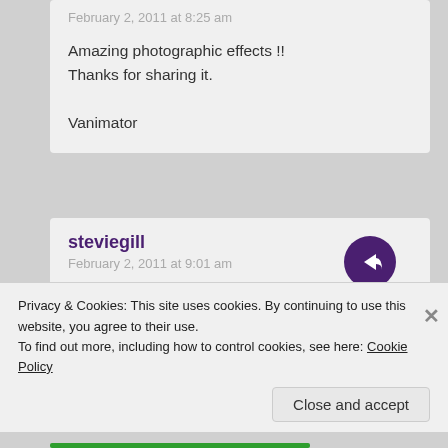February 2, 2011 at 8:25 am
Amazing photographic effects !!
Thanks for sharing it.

Vanimator
steviegill
February 2, 2011 at 9:01 am
Great photos. I photograph everything in colour, but in post-process I always try one or two basic B&W conversions and compare to the colour version. If preferable, I start working on the B&W
Privacy & Cookies: This site uses cookies. By continuing to use this website, you agree to their use.
To find out more, including how to control cookies, see here: Cookie Policy
Close and accept